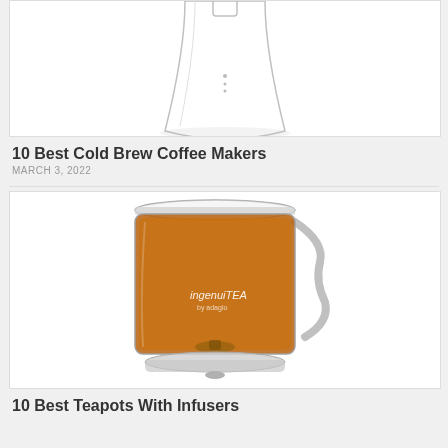[Figure (photo): Partial top view of a glass cold brew coffee maker with a conical flask shape, white background, only the lower portion visible]
10 Best Cold Brew Coffee Makers
MARCH 3, 2022
[Figure (photo): A clear glass tea infuser mug with a handle on the right side, filled with amber tea liquid, sitting on a circular base/dripper. The mug has 'ingenuiTEA' text on it.]
10 Best Teapots With Infusers